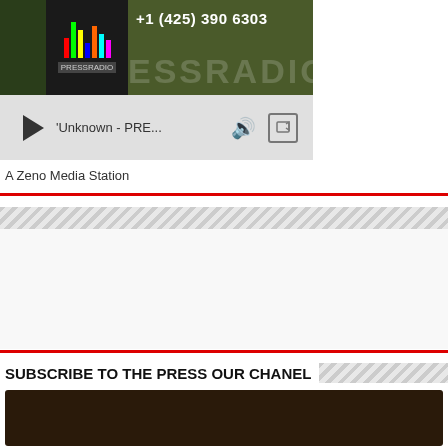[Figure (screenshot): Press Radio station banner with phone number +1 (425) 390 6303 and PRESSRADIO text on dark olive background]
[Figure (screenshot): Audio player bar with play button, track name 'Unknown - PRE...', speaker icon and share icon on gray background]
A Zeno Media Station
[Figure (screenshot): Hatched gray diagonal strip divider]
[Figure (screenshot): White advertisement box area]
SUBSCRIBE TO THE PRESS OUR CHANEL
[Figure (screenshot): YouTube video thumbnail showing 'Akufo Addo mocks Ndc' with channel logo and play button overlay]